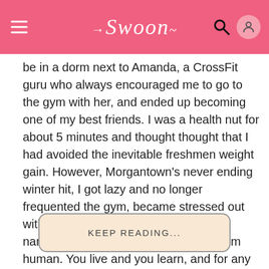Swoon
be in a dorm next to Amanda, a CrossFit guru who always encouraged me to go to the gym with her, and ended up becoming one of my best friends. I was a health nut for about 5 minutes and thought thought that I had avoided the inevitable freshmen weight gain. However, Morgantown's never ending winter hit, I got lazy and no longer frequented the gym, became stressed out with classes, and let Chick Fil A call my name one too many times. Whatever, I'm human. You live and you learn, and for any incoming freshmen, there's a few things you need to know.
KEEP READING...